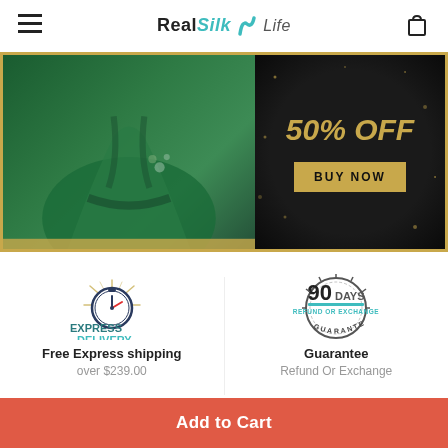RealSilk Life
[Figure (photo): Promotional banner showing a woman wearing a green silk robe, with a black panel on the right displaying '50% OFF' in gold text and a 'BUY NOW' button.]
[Figure (logo): Express Delivery logo with a stopwatch icon and radiating lines in teal and gold colors.]
[Figure (logo): 90 Days Refund or Exchange Guarantee badge with circular seal design.]
Free Express shipping
over $239.00
Guarantee
Refund Or Exchange
Add to Cart